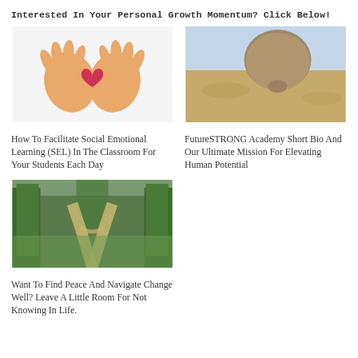Interested In Your Personal Growth Momentum? Click Below!
[Figure (photo): Two orange hand prints forming a heart shape with a red heart in the center]
How To Facilitate Social Emotional Learning (SEL) In The Classroom For Your Students Each Day
[Figure (photo): A large rock balanced on a small stone or animal in a desert landscape]
FutureSTRONG Academy Short Bio And Our Ultimate Mission For Elevating Human Potential
[Figure (photo): A forked path through a lush green forest]
Want To Find Peace And Navigate Change Well? Leave A Little Room For Not Knowing In Life.